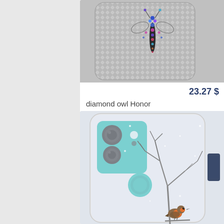[Figure (photo): Silver diamond mesh phone case with colorful jeweled owl/dragonfly decoration on Honor 9a / Play 9A]
23.27 $
diamond owl Honor 9a / Play 9A case
[Figure (photo): White phone case with winter bird on branch scene on a Huawei Honor 9A phone with teal camera module]